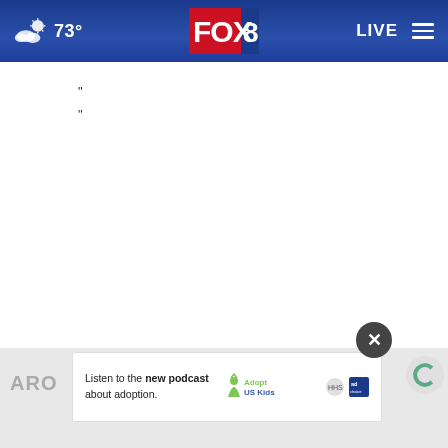73° FOX 8 LIVE
" "
[Figure (screenshot): FOX 8 news website screenshot showing header navigation bar with weather (73°), FOX 8 logo, LIVE button, and hamburger menu on a blue gradient background]
ARO
Listen to the new podcast about adoption.